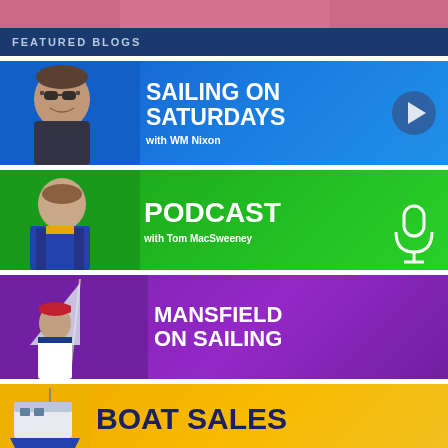[Figure (illustration): Top pink/rose banner strip]
FEATURED BLOGS
[Figure (infographic): Sailing on Saturdays blog card with blue background, man in sunglasses photo on left, white text 'SAILING ON SATURDAYS with WM Nixon', play button on right]
[Figure (infographic): Podcast card with green background, man in life vest photo on left, white text 'PODCAST with Tom MacSweeney', microphone icon on right]
[Figure (infographic): Mansfield on Sailing card with purple background, man on sailboat photo on left, white text 'MANSFIELD ON SAILING']
[Figure (infographic): Boat Sales card with yellow/gold background, boat photo on left, dark blue text 'BOAT SALES']